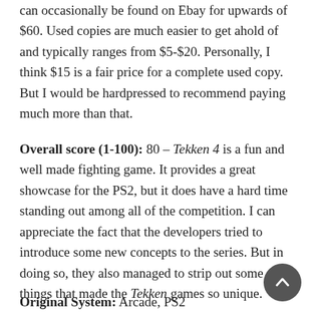can occasionally be found on Ebay for upwards of $60. Used copies are much easier to get ahold of and typically ranges from $5-$20. Personally, I think $15 is a fair price for a complete used copy. But I would be hardpressed to recommend paying much more than that.
Overall score (1-100): 80 – Tekken 4 is a fun and well made fighting game. It provides a great showcase for the PS2, but it does have a hard time standing out among all of the competition. I can appreciate the fact that the developers tried to introduce some new concepts to the series. But in doing so, they also managed to strip out some of things that made the Tekken games so unique.
Original System: Arcade, PS2